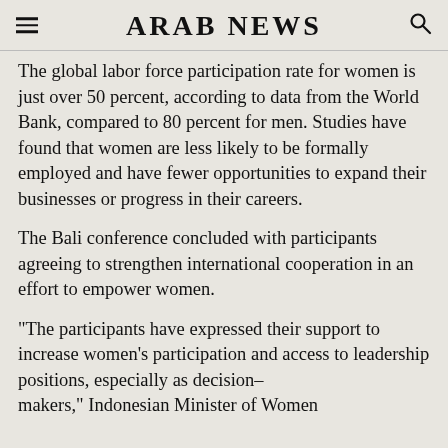ARAB NEWS
The global labor force participation rate for women is just over 50 percent, according to data from the World Bank, compared to 80 percent for men. Studies have found that women are less likely to be formally employed and have fewer opportunities to expand their businesses or progress in their careers.
The Bali conference concluded with participants agreeing to strengthen international cooperation in an effort to empower women.
“The participants have expressed their support to increase women’s participation and access to leadership positions, especially as decision-makers,” Indonesian Minister of Women…